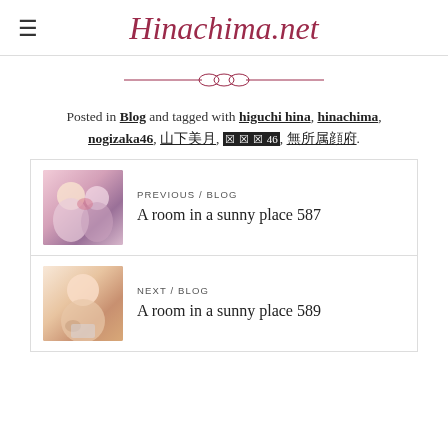Hinachima.net
Posted in Blog and tagged with higuchi hina, hinachima, nogizaka46, 山下美月, ☒☒☒46, 無所属隠府.
PREVIOUS / BLOG
A room in a sunny place 587
NEXT / BLOG
A room in a sunny place 589